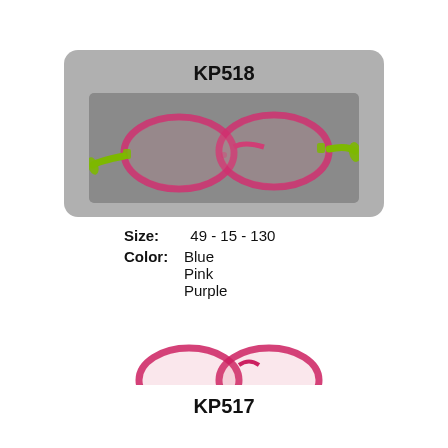KP518
[Figure (photo): Eyeglasses frame KP518 with pink/red translucent front and green/lime temples, displayed on gray rounded-rectangle card background]
Size:  49 - 15 - 130
Color: Blue
Pink
Purple
KP517
[Figure (photo): Partial view of eyeglasses frame KP517 with pink/red frames visible at bottom of page]